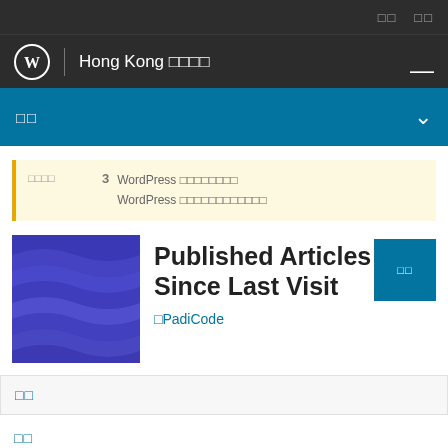□□  □□
Hong Kong □□□□
□□
□□□□  3  WordPress □□□□□□□□  WordPress □□□□□□□□□□□□
[Figure (illustration): Blue wavy textured plugin thumbnail image]
Published Articles Since Last Visit
□PadiCode
□□
□□
□□